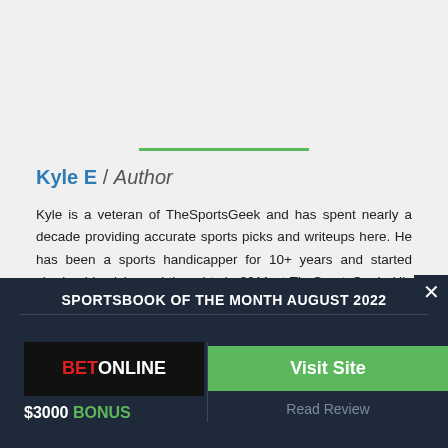Kyle E / Author
Kyle is a veteran of TheSportsGeek and has spent nearly a decade providing accurate sports picks and writeups here. He has been a sports handicapper for 10+ years and started sharing his picks and thoughts in 2011 at TheSportsGeek. His expertise spans across multiple sports, including the NFL, NCAAF, MLB, NHL, and hors
SPORTSBOOK OF THE MONTH AUGUST 2022
[Figure (logo): BetOnline logo - black background with BET in red and ONLINE in white]
$3000 BONUS
Visit Site
Read Review